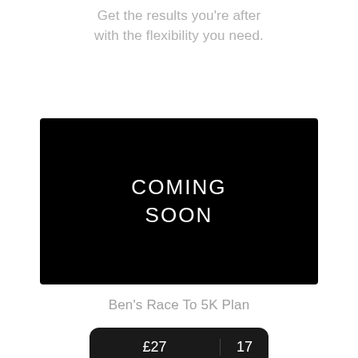Get the results you're after with the flexibility you need.
[Figure (other): Black rectangular video/image placeholder with white text reading COMING SOON centered in two lines]
Ben's Race To 5K Plan
£27  17